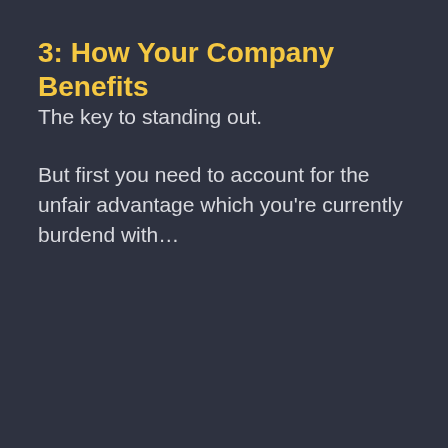3: How Your Company Benefits
The key to standing out.
But first you need to account for the unfair advantage which you're currently burdend with…